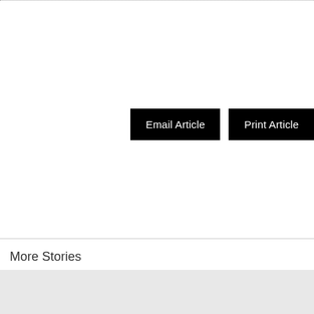[Figure (other): Email Article and Print Article buttons area]
More Stories
[Figure (other): Gray placeholder block for story thumbnails]